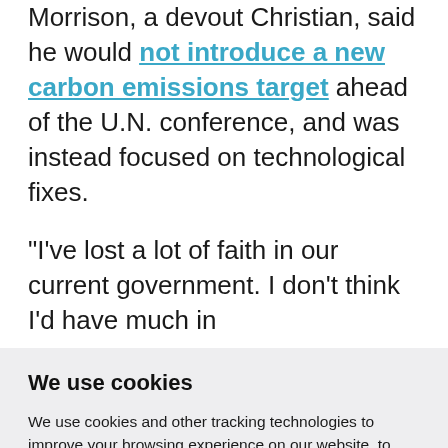Morrison, a devout Christian, said he would not introduce a new carbon emissions target ahead of the U.N. conference, and was instead focused on technological fixes.
"I've lost a lot of faith in our current government. I don't think I'd have much in
We use cookies
We use cookies and other tracking technologies to improve your browsing experience on our website, to show you personalized content and targeted ads, to analyze our website traffic, and to understand where our visitors are coming from.